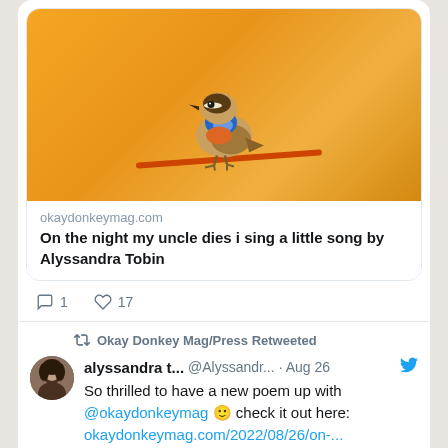[Figure (photo): A colorful bird (bluethroat) with blue and orange plumage perched on an orange rod/wire, against a blurred warm orange background]
okaydonkeymag.com
On the night my uncle dies i sing a little song by Alyssandra Tobin
1   17
Okay Donkey Mag/Press Retweeted
alyssandra t...  @Alyssandr...  · Aug 26
So thrilled to have a new poem up with @okaydonkeymag 🙂 check it out here: okaydonkeymag.com/2022/08/26/on-...